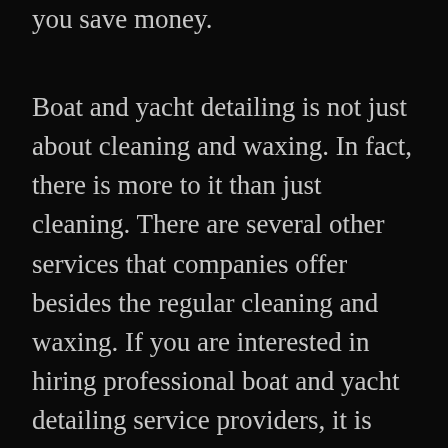you save money.
Boat and yacht detailing is not just about cleaning and waxing. In fact, there is more to it than just cleaning. There are several other services that companies offer besides the regular cleaning and waxing. If you are interested in hiring professional boat and yacht detailing service providers, it is best to look at the reviews and testimonials of their past customers. You will be able to gauge whether a particular provider is reputable or not. Detailing businesses have different reputations that you can study by looking at the reviews of various clients